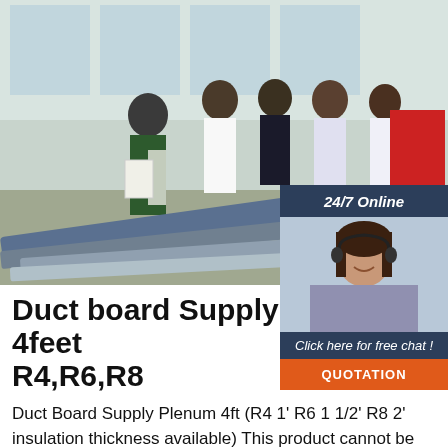[Figure (photo): Group of people in an industrial/factory setting, examining equipment. Several men and a woman with a white tote bag are gathered around machinery. Blue duct board pieces visible in foreground.]
[Figure (infographic): 24/7 Online chat widget overlay showing a woman with a headset smiling, with text 'Click here for free chat!' and an orange QUOTATION button.]
Duct board Supply Plenum 4feet R4,R6,R8
Duct Board Supply Plenum 4ft (R4 1' R6 1 1/2' R8 2' insulation thickness available) This product cannot be shipped via a parcel service due to product dimensions. This item has to be picked up